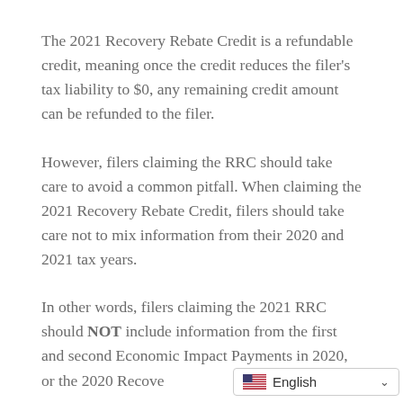The 2021 Recovery Rebate Credit is a refundable credit, meaning once the credit reduces the filer's tax liability to $0, any remaining credit amount can be refunded to the filer.
However, filers claiming the RRC should take care to avoid a common pitfall. When claiming the 2021 Recovery Rebate Credit, filers should take care not to mix information from their 2020 and 2021 tax years.
In other words, filers claiming the 2021 RRC should NOT include information from the first and second Economic Impact Payments in 2020, or the 2020 Recove...